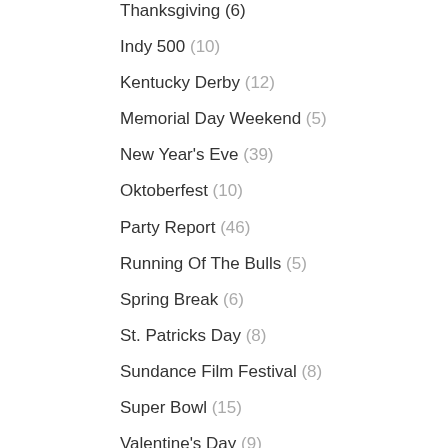Thanksgiving (6)
Indy 500 (10)
Kentucky Derby (12)
Memorial Day Weekend (5)
New Year's Eve (39)
Oktoberfest (10)
Party Report (46)
Running Of The Bulls (5)
Spring Break (6)
St. Patricks Day (8)
Sundance Film Festival (8)
Super Bowl (15)
Valentine's Day (9)
Homepage Fun Stuff (5)
Homepage Lifestyle (2)
Men's Stuff (4)